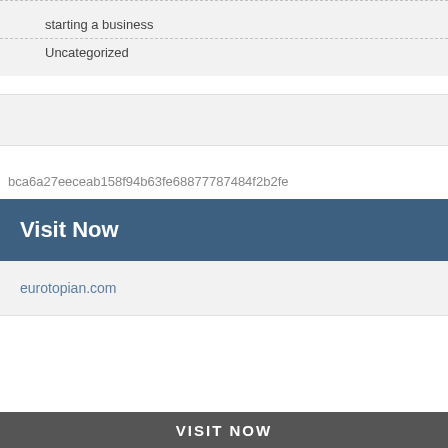starting a business
Uncategorized
bca6a27eeceab158f94b63fe68877787484f2b2fe
Visit Now
eurotopian.com
VISIT NOW